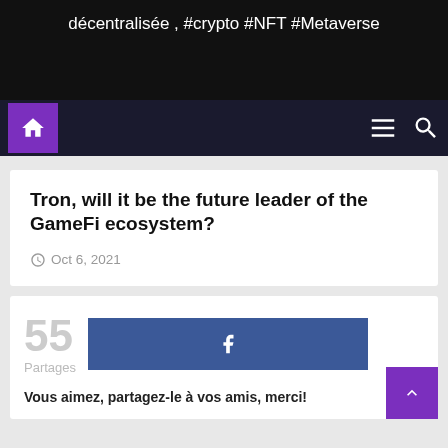décentralisée , #crypto #NFT #Metaverse
Tron, will it be the future leader of the GameFi ecosystem?
Oct 6, 2021
55 Partages
Vous aimez, partagez-le à vos amis, merci!